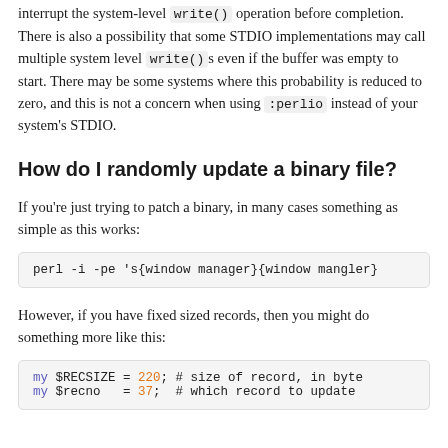There is still a small theoretical chance that a signal will interrupt the system-level write() operation before completion. There is also a possibility that some STDIO implementations may call multiple system level write()s even if the buffer was empty to start. There may be some systems where this probability is reduced to zero, and this is not a concern when using :perlio instead of your system's STDIO.
How do I randomly update a binary file?
If you're just trying to patch a binary, in many cases something as simple as this works:
perl -i -pe 's{window manager}{window mangler}' /usr/bin/something
However, if you have fixed sized records, then you might do something more like this:
my $RECSIZE = 220; # size of record, in bytes
my $recno   = 37;  # which record to update